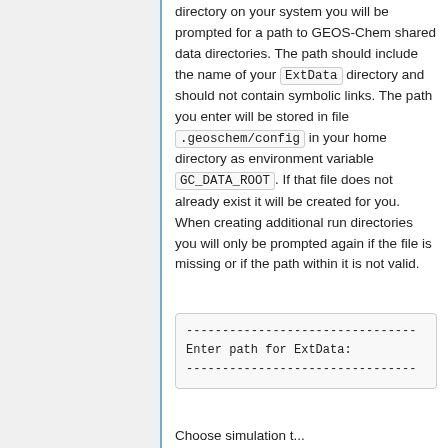directory on your system you will be prompted for a path to GEOS-Chem shared data directories. The path should include the name of your ExtData directory and should not contain symbolic links. The path you enter will be stored in file .geoschem/config in your home directory as environment variable GC_DATA_ROOT. If that file does not already exist it will be created for you. When creating additional run directories you will only be prompted again if the file is missing or if the path within it is not valid.
[Figure (screenshot): Code box showing: dashed line, 'Enter path for ExtData:', dashed line]
Choose simulation type...